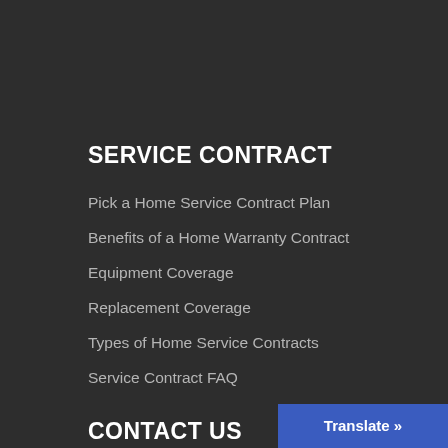SERVICE CONTRACT
Pick a Home Service Contract Plan
Benefits of a Home Warranty Contract
Equipment Coverage
Replacement Coverage
Types of Home Service Contracts
Service Contract FAQ
CONTACT US
Coupons
Jobs
Translate »